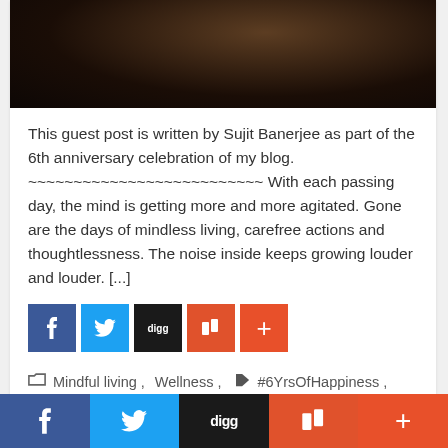[Figure (photo): Dark brown/black hero image, appears to be a close-up of an animal or dark textured surface]
This guest post is written by Sujit Banerjee as part of the 6th anniversary celebration of my blog. ~~~~~~~~~~~~~~~~~~~~~~~~~ With each passing day, the mind is getting more and more agitated. Gone are the days of mindless living, carefree actions and thoughtlessness. The noise inside keeps growing louder and louder. [...]
[Figure (infographic): Social sharing buttons: Facebook (blue), Twitter (light blue), Digg (black), Mix (orange-red), plus button (orange-red)]
Mindful living, Wellness, #6YrsOfHappiness, Mindful living, Zen, 3 Comments
f  (Twitter bird)  digg  m  +  — bottom social share bar